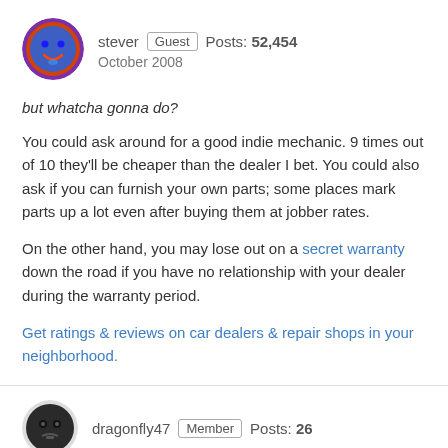[Figure (illustration): Circular avatar icon with blue smiley face on purple/red border background for user stever]
stever Guest Posts: 52,454
October 2008
but whatcha gonna do?
You could ask around for a good indie mechanic. 9 times out of 10 they'll be cheaper than the dealer I bet. You could also ask if you can furnish your own parts; some places mark parts up a lot even after buying them at jobber rates.
On the other hand, you may lose out on a secret warranty down the road if you have no relationship with your dealer during the warranty period.
Get ratings & reviews on car dealers & repair shops in your neighborhood.
[Figure (illustration): Circular avatar icon with dark skull/face icon for user dragonfly47]
dragonfly47 Member Posts: 26